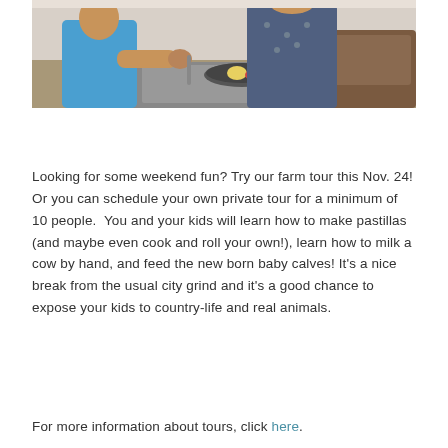[Figure (photo): Two people cooking at a stove, one in a blue shirt stirring a pan, another in a patterned shirt in the background; indoor kitchen setting.]
Looking for some weekend fun? Try our farm tour this Nov. 24! Or you can schedule your own private tour for a minimum of 10 people.  You and your kids will learn how to make pastillas (and maybe even cook and roll your own!), learn how to milk a cow by hand, and feed the new born baby calves! It's a nice break from the usual city grind and it's a good chance to expose your kids to country-life and real animals.
For more information about tours, click here.